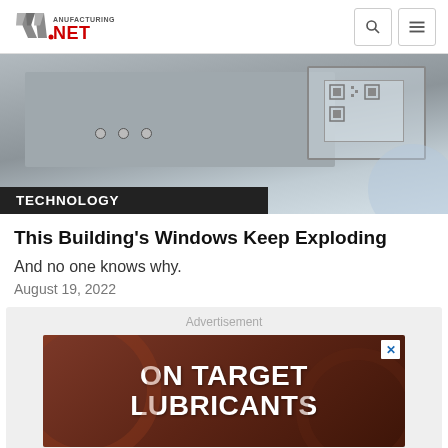Manufacturing.NET
[Figure (photo): Close-up photo of industrial/manufacturing equipment panel with screws and a QR code label, on a blue metallic background]
TECHNOLOGY
This Building's Windows Keep Exploding
And no one knows why.
August 19, 2022
[Figure (other): Advertisement banner for ON TARGET LUBRICANTS with reddish-brown background and gear imagery]